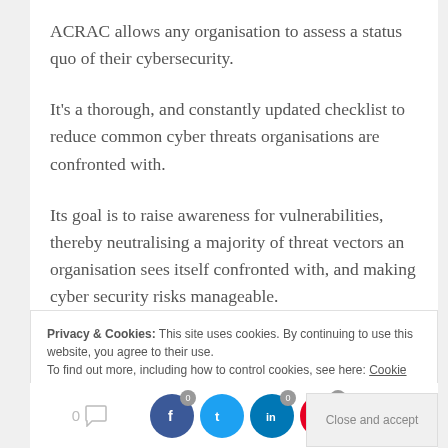ACRAC allows any organisation to assess a status quo of their cybersecurity.
It's a thorough, and constantly updated checklist to reduce common cyber threats organisations are confronted with.
Its goal is to raise awareness for vulnerabilities, thereby neutralising a majority of threat vectors an organisation sees itself confronted with, and making cyber security risks manageable.
Privacy & Cookies: This site uses cookies. By continuing to use this website, you agree to their use.
To find out more, including how to control cookies, see here: Cookie Policy
0 [comment] | 0 [facebook] | 0 [twitter] | 0 [linkedin] | 0 [pinterest] | < | >